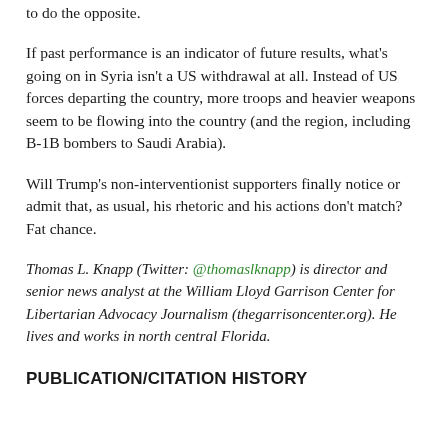to do the opposite.
If past performance is an indicator of future results, what's going on in Syria isn't a US withdrawal at all. Instead of US forces departing the country, more troops and heavier weapons seem to be flowing into the country (and the region, including B-1B bombers to Saudi Arabia).
Will Trump's non-interventionist supporters finally notice or admit that, as usual, his rhetoric and his actions don't match? Fat chance.
Thomas L. Knapp (Twitter: @thomaslknapp) is director and senior news analyst at the William Lloyd Garrison Center for Libertarian Advocacy Journalism (thegarrisoncenter.org). He lives and works in north central Florida.
PUBLICATION/CITATION HISTORY